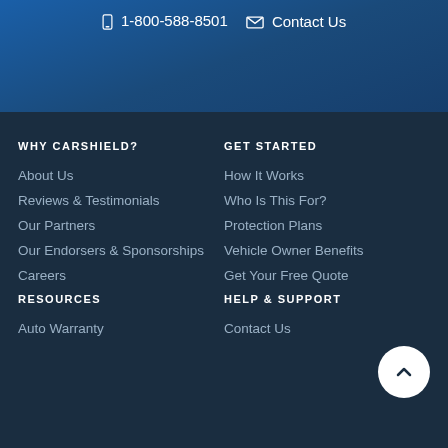1-800-588-8501   Contact Us
WHY CARSHIELD?
About Us
Reviews & Testimonials
Our Partners
Our Endorsers & Sponsorships
Careers
RESOURCES
Auto Warranty
GET STARTED
How It Works
Who Is This For?
Protection Plans
Vehicle Owner Benefits
Get Your Free Quote
HELP & SUPPORT
Contact Us